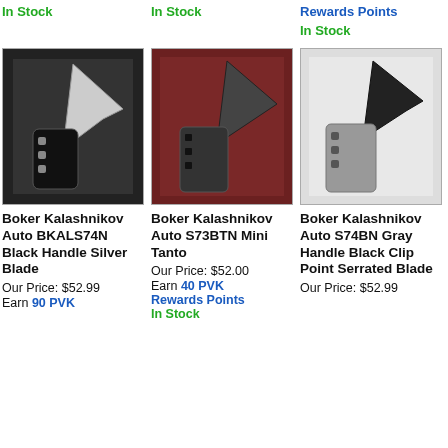In Stock
In Stock
Rewards Points
In Stock
[Figure (photo): Boker Kalashnikov Auto BKALS74N knife with black handle and silver blade]
[Figure (photo): Boker Kalashnikov Auto S73BTN Mini Tanto knife on red background]
[Figure (photo): Boker Kalashnikov Auto S74BN Gray Handle Black Clip Point Serrated Blade knife]
Boker Kalashnikov Auto BKALS74N Black Handle Silver Blade
Our Price: $52.99
Earn 90 PVK
Boker Kalashnikov Auto S73BTN Mini Tanto
Our Price: $52.00
Earn 40 PVK Rewards Points
In Stock
Boker Kalashnikov Auto S74BN Gray Handle Black Clip Point Serrated Blade
Our Price: $52.99